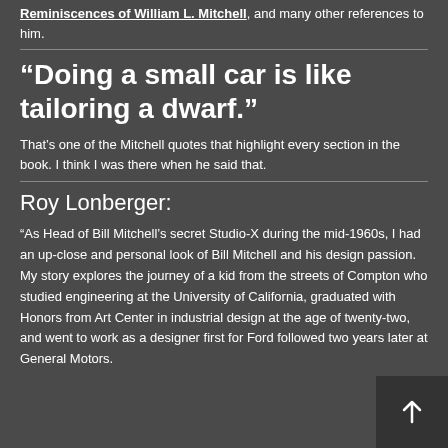Reminiscences of William L. Mitchell, and many other references to him.
“Doing a small car is like tailoring a dwarf.”
That’s one of the Mitchell quotes that highlight every section in the book. I think I was there when he said that.
Roy Lonberger:
“As Head of Bill Mitchell’s secret Studio-X during the mid-1960s, I had an up-close and personal look of Bill Mitchell and his design passion. My story explores the journey of a kid from the streets of Compton who studied engineering at the University of California, graduated with Honors from Art Center in industrial design at the age of twenty-two, and went to work as a designer first for Ford followed two years later at General Motors.